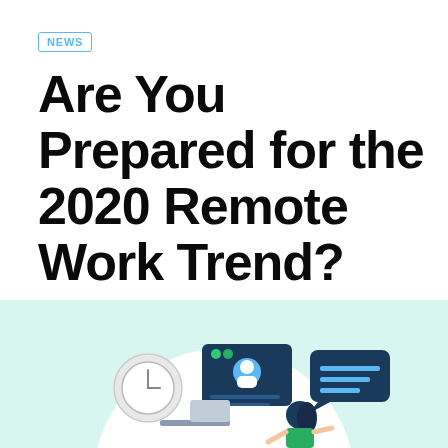NEWS
Are You Prepared for the 2020 Remote Work Trend?
Marketing
24 November, 2021
[Figure (illustration): Remote work themed illustration showing a person at a desk with a video call interface, clock, and chat bubble icons on a mint/teal background with a white circle backdrop]